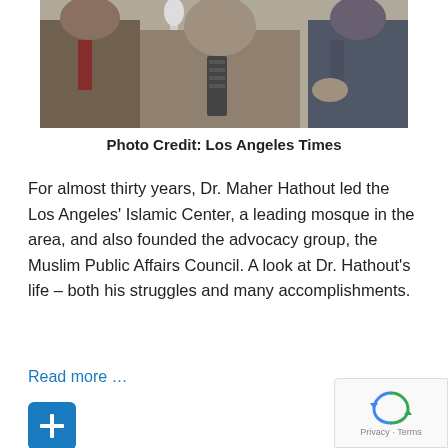[Figure (photo): Black and white photo of men in suits, one speaking at a microphone, partially cropped at top]
Photo Credit: Los Angeles Times
For almost thirty years, Dr. Maher Hathout led the Los Angeles' Islamic Center, a leading mosque in the area, and also founded the advocacy group, the Muslim Public Affairs Council. A look at Dr. Hathout's life – both his struggles and many accomplishments.
Read more …
[Figure (other): Blue plus button icon]
[Figure (other): reCAPTCHA widget with Privacy and Terms links]